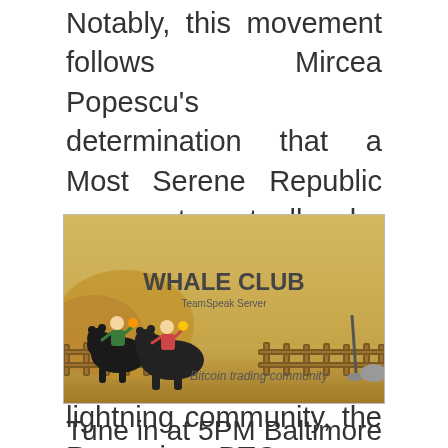Notably, this movement follows Mircea Popescu's determination that a Most Serene Republic can not actually be constructed. Today Vlad dialogue concerning the crypto information, localized exchanges, lightning community, the Romanian BTC scene, Bitpiggys, and far more!
[Figure (illustration): Whale Club TeamSpeak Server banner image showing two figures riding bears in a golden landscape with a wooden fence. Text reads 'WHALE CLUB TeamSpeak Server' and 'Bitcoin trading community'.]
Tune in at 5PM Baltimore time for … [ index ] [ ] [ ] [ ] [ ] [ ] [ ] [ ] [ ] [ ] [ ] Strategie tranzactionare pe binance. Andy Bitcoin trading forum club whale Romania club info type Ronan Cristea and